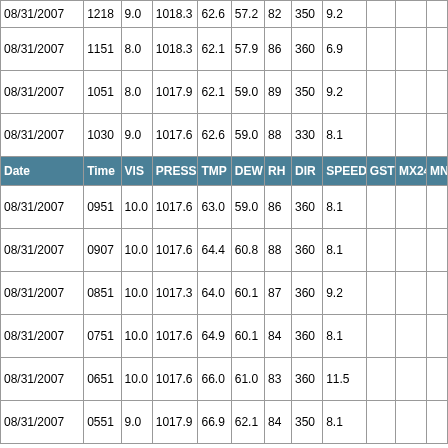| Date | Time | VIS | PRESS | TMP | DEW | RH | DIR | SPEED | GST | MX24 | MN |
| --- | --- | --- | --- | --- | --- | --- | --- | --- | --- | --- | --- |
| 08/31/2007 | 1218 | 9.0 | 1018.3 | 62.6 | 57.2 | 82 | 350 | 9.2 |  |  |  |
| 08/31/2007 | 1151 | 8.0 | 1018.3 | 62.1 | 57.9 | 86 | 360 | 6.9 |  |  |  |
| 08/31/2007 | 1051 | 8.0 | 1017.9 | 62.1 | 59.0 | 89 | 350 | 9.2 |  |  |  |
| 08/31/2007 | 1030 | 9.0 | 1017.6 | 62.6 | 59.0 | 88 | 330 | 8.1 |  |  |  |
| 08/31/2007 | 0951 | 10.0 | 1017.6 | 63.0 | 59.0 | 86 | 360 | 8.1 |  |  |  |
| 08/31/2007 | 0907 | 10.0 | 1017.6 | 64.4 | 60.8 | 88 | 360 | 8.1 |  |  |  |
| 08/31/2007 | 0851 | 10.0 | 1017.3 | 64.0 | 60.1 | 87 | 360 | 9.2 |  |  |  |
| 08/31/2007 | 0751 | 10.0 | 1017.6 | 64.9 | 60.1 | 84 | 360 | 8.1 |  |  |  |
| 08/31/2007 | 0651 | 10.0 | 1017.6 | 66.0 | 61.0 | 83 | 360 | 11.5 |  |  |  |
| 08/31/2007 | 0551 | 9.0 | 1017.9 | 66.9 | 62.1 | 84 | 350 | 8.1 |  |  |  |